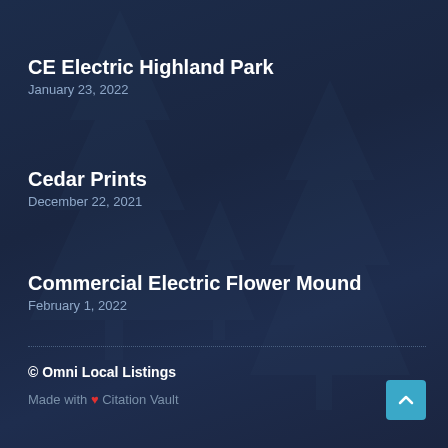CE Electric Highland Park
January 23, 2022
Cedar Prints
December 22, 2021
Commercial Electric Flower Mound
February 1, 2022
© Omni Local Listings
Made with ❤ Citation Vault